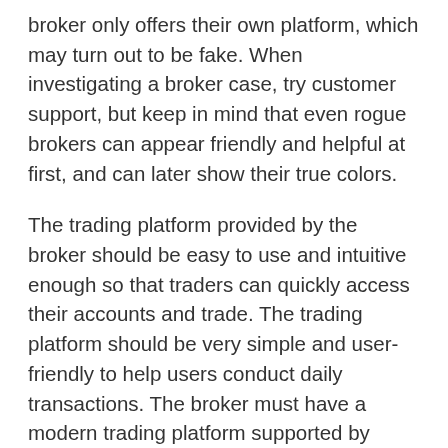broker only offers their own platform, which may turn out to be fake. When investigating a broker case, try customer support, but keep in mind that even rogue brokers can appear friendly and helpful at first, and can later show their true colors.
The trading platform provided by the broker should be easy to use and intuitive enough so that traders can quickly access their accounts and trade. The trading platform should be very simple and user-friendly to help users conduct daily transactions. The broker must have a modern trading platform supported by advanced analytical tools and the latest foreign exchange technology. A good broker must not only be regulated, but also have a good reputation, excellent trading conditions, and excellent